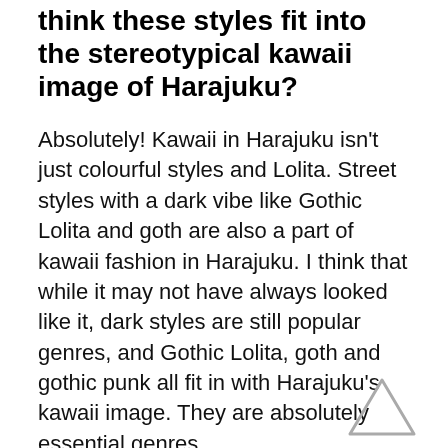think these styles fit into the stereotypical kawaii image of Harajuku?
Absolutely! Kawaii in Harajuku isn't just colourful styles and Lolita. Street styles with a dark vibe like Gothic Lolita and goth are also a part of kawaii fashion in Harajuku. I think that while it may not have always looked like it, dark styles are still popular genres, and Gothic Lolita, goth and gothic punk all fit in with Harajuku's kawaii image. They are absolutely essential genres.
Manga speech bubbles, anime stills... Your instagram is a wash
[Figure (illustration): A simple outlined triangle (upward pointing) in light gray, positioned at bottom right of the page, likely a navigation arrow.]